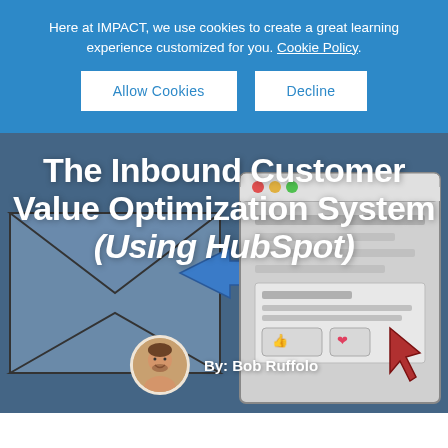Here at IMPACT, we use cookies to create a great learning experience customized for you. Cookie Policy.
Allow Cookies
Decline
The Inbound Customer Value Optimization System (Using HubSpot)
[Figure (illustration): Hero illustration showing a funnel/email icon on the left with arrows pointing right toward a browser window mockup showing a webpage with like and heart icons and a cursor arrow. Background is a dark blue-gray gradient.]
By: Bob Ruffolo